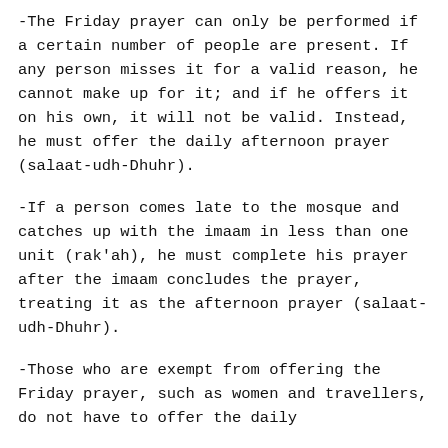-The Friday prayer can only be performed if a certain number of people are present. If any person misses it for a valid reason, he cannot make up for it; and if he offers it on his own, it will not be valid. Instead, he must offer the daily afternoon prayer (salaat-udh-Dhuhr).
-If a person comes late to the mosque and catches up with the imaam in less than one unit (rak'ah), he must complete his prayer after the imaam concludes the prayer, treating it as the afternoon prayer (salaat-udh-Dhuhr).
-Those who are exempt from offering the Friday prayer, such as women and travellers, do not have to offer the daily